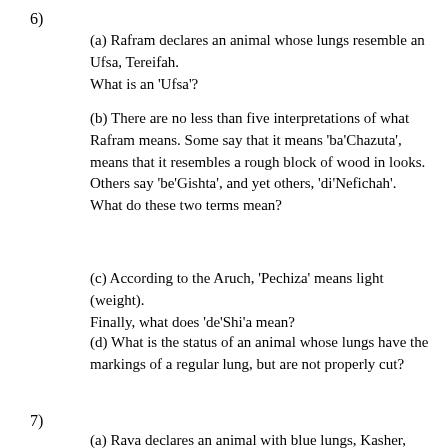6)
(a) Rafram declares an animal whose lungs resemble an Ufsa, Tereifah.
What is an 'Ufsa'?
(b) There are no less than five interpretations of what Rafram means. Some say that it means 'ba'Chazuta', means that it resembles a rough block of wood in looks. Others say 'be'Gishta', and yet others, 'di'Nefichah'. What do these two terms mean?
(c) According to the Aruch, 'Pechiza' means light (weight).
Finally, what does 'de'Shi'a mean?
(d) What is the status of an animal whose lungs have the markings of a regular lung, but are not properly cut?
7)
(a) Rava declares an animal with blue lungs, Kasher, with black lungs, Tereifah, based on a statement by Rebbi Chanina.